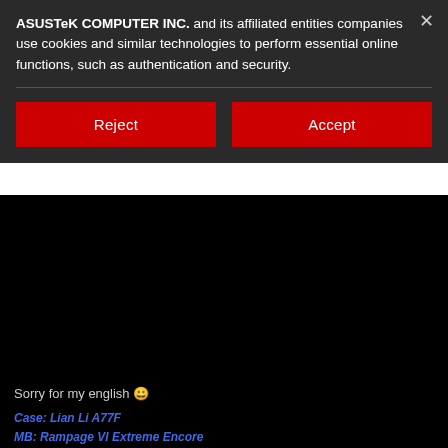ASUSTeK COMPUTER INC. and its affiliated entities companies use cookies and similar technologies to perform essential online functions, such as authentication and security.
Reject
Accept
Sorry for my english 😀
Case: Lian Li A77F
MB: Rampage VI Extreme Encore
CPU: i9 10980XE
RAM: G.Skill Trident Z RGB Royal 4x8Gb @4000 C16
GPU: EVGA RTX 2080ti XC Ultra
PSU: Seasonic Prime Ultra Titanium 1000W
OS: Intel Optane 905P PCIe
DATA: Samsung 980 Pro